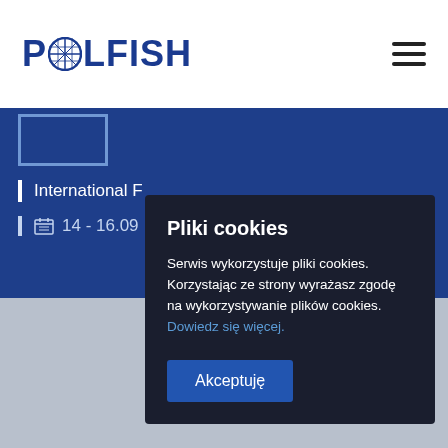POLFISH
International
14 - 16.09
Pliki cookies
Serwis wykorzystuje pliki cookies. Korzystając ze strony wyrażasz zgodę na wykorzystywanie plików cookies. Dowiedz się więcej.
Akceptuję